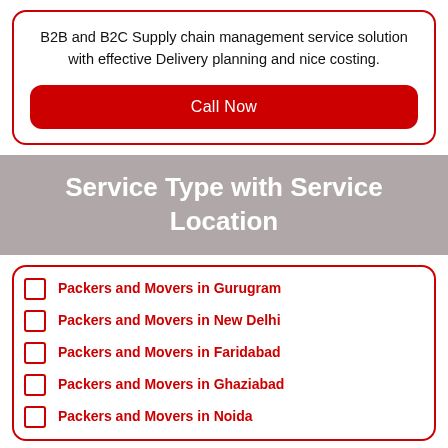B2B and B2C Supply chain management service solution with effective Delivery planning and nice costing.
Call Now
Service Type with Service Location
Packers and Movers in Gurugram
Packers and Movers in New Delhi
Packers and Movers in Faridabad
Packers and Movers in Ghaziabad
Packers and Movers in Noida
Packers and Movers in Jaipur
Packers and Movers in Ajmer
Packers and Movers in Neemrana